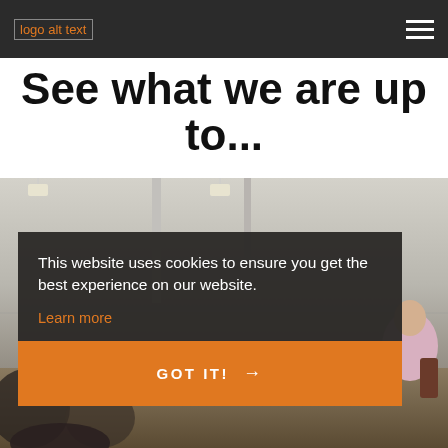logo alt text
See what we are up to...
[Figure (photo): Photo of people in a room/meeting hall with ceiling lights, vertical poles, and chairs visible. A person in a pink shirt is seen on the right side.]
This website uses cookies to ensure you get the best experience on our website.
Learn more
GOT IT! →